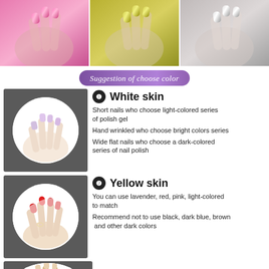[Figure (photo): Three photos of hands with metallic nail polish: pink/rose, gold/green, and silver metallic colors]
Suggestion of choose color
[Figure (photo): Hand with purple/violet nail polish shown in circular frame on dark background]
1. White skin
Short nails who choose light-colored series of polish gel
Hand wrinkled who choose bright colors series
Wide flat nails who choose a dark-colored series of nail polish
[Figure (photo): Hand with red nail polish shown in circular frame on dark background]
2. Yellow skin
You can use lavender, red, pink, light-colored to match
Recommend not to use black, dark blue, brown and other dark colors
[Figure (photo): Partial view of hand with nail polish shown in circular frame on dark background]